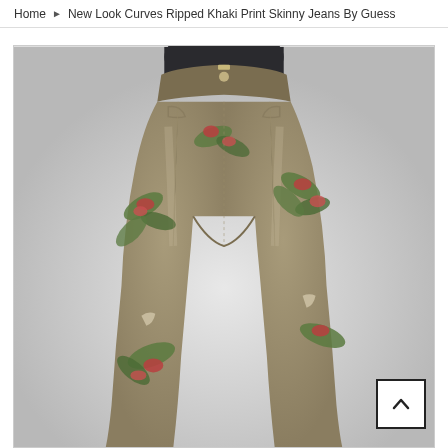Home ▶ New Look Curves Ripped Khaki Print Skinny Jeans By Guess
[Figure (photo): Product photo of khaki floral print skinny jeans displayed on a mannequin against a light grey background. The jeans feature a tropical/floral pattern with green leaves and red flowers on a khaki/olive base, with ripped distressed detailing.]